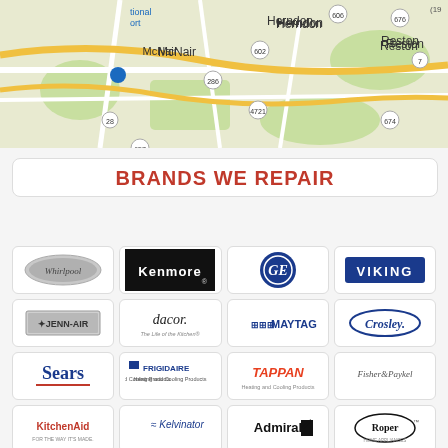[Figure (map): Google Maps style road map showing area around Herndon, Reston, McNair, Crowells Corner, Wolf Trap, Virginia with route numbers 606, 676, 7, 602, 286, 28, 4721, 674, 657]
BRANDS WE REPAIR
[Figure (logo): Whirlpool brand logo]
[Figure (logo): Kenmore brand logo]
[Figure (logo): GE brand logo]
[Figure (logo): Viking brand logo]
[Figure (logo): Jenn-Air brand logo]
[Figure (logo): Dacor brand logo]
[Figure (logo): Maytag brand logo]
[Figure (logo): Crosley brand logo]
[Figure (logo): Sears brand logo]
[Figure (logo): Frigidaire Heating and Cooling Products brand logo]
[Figure (logo): Tappan Heating and Cooling Products brand logo]
[Figure (logo): Fisher & Paykel brand logo]
[Figure (logo): KitchenAid brand logo]
[Figure (logo): Kelvinator brand logo]
[Figure (logo): Admiral brand logo]
[Figure (logo): Roper Home Appliances brand logo]
[Figure (logo): ASKO brand logo]
[Figure (logo): InSinkErator brand logo]
[Figure (logo): Amana Heating and Air Conditioning brand logo]
[Figure (logo): Modern Maid brand logo]